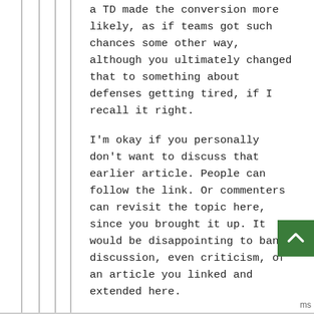a TD made the conversion more likely, as if teams got such chances some other way, although you ultimately changed that to something about defenses getting tired, if I recall it right.
I'm okay if you personally don't want to discuss that earlier article. People can follow the link. Or commenters can revisit the topic here, since you brought it up. It would be disappointing to ban discussion, even criticism, of an article you linked and extended here.
Log in or register to post comments